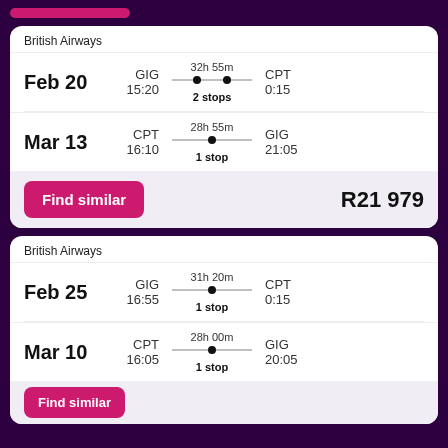British Airways
Feb 20 | GIG 15:20 | 32h 55m 2 stops | CPT 0:15
Mar 13 | CPT 16:10 | 28h 55m 1 stop | GIG 21:05
Find similar
R21 979
British Airways
Feb 25 | GIG 16:55 | 31h 20m 1 stop | CPT 0:15
Mar 10 | CPT 16:05 | 28h 00m 1 stop | GIG 20:05